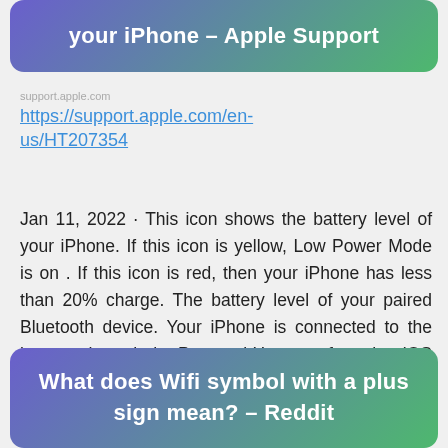your iPhone – Apple Support
https://support.apple.com/en-us/HT207354
Jan 11, 2022  · This icon shows the battery level of your iPhone. If this icon is yellow, Low Power Mode is on . If this icon is red, then your iPhone has less than 20% charge. The battery level of your paired Bluetooth device. Your iPhone is connected to the internet through the Personal Hotspot of another iOS device.
What does Wifi symbol with a plus sign mean? – Reddit